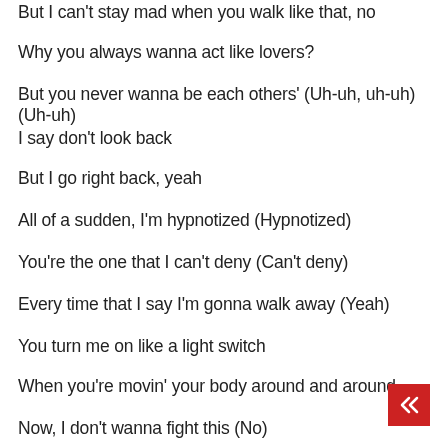But I can't stay mad when you walk like that, no
Why you always wanna act like lovers?
But you never wanna be each others' (Uh-uh, uh-uh) (Uh-uh)
I say don't look back
But I go right back, yeah
All of a sudden, I'm hypnotized (Hypnotized)
You're the one that I can't deny (Can't deny)
Every time that I say I'm gonna walk away (Yeah)
You turn me on like a light switch
When you're movin' your body around and around
Now, I don't wanna fight this (No)